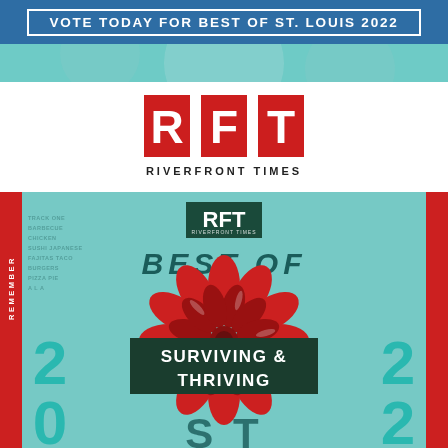VOTE TODAY FOR BEST OF ST. LOUIS 2022
[Figure (logo): RFT Riverfront Times logo — bold red block letters R, F, T with RIVERFRONT TIMES text beneath]
[Figure (infographic): RFT Best Of 2022 Surviving & Thriving promotional banner with teal background, large red flower illustration, bold typography, and red side strips reading REMEMBER]